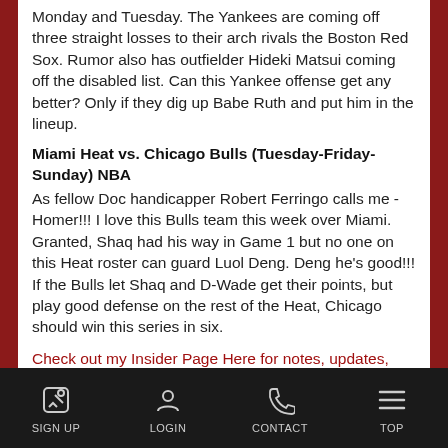Monday and Tuesday. The Yankees are coming off three straight losses to their arch rivals the Boston Red Sox. Rumor also has outfielder Hideki Matsui coming off the disabled list. Can this Yankee offense get any better? Only if they dig up Babe Ruth and put him in the lineup.
Miami Heat vs. Chicago Bulls (Tuesday-Friday-Sunday) NBA
As fellow Doc handicapper Robert Ferringo calls me - Homer!!! I love this Bulls team this week over Miami. Granted, Shaq had his way in Game 1 but no one on this Heat roster can guard Luol Deng. Deng he's good!!! If the Bulls let Shaq and D-Wade get their points, but play good defense on the rest of the Heat, Chicago should win this series in six.
Check out my Insider Page Here for notes, updates, and free plays.
STRIKE POINTS SPORTS
SIGN UP  LOGIN  CONTACT  TOP